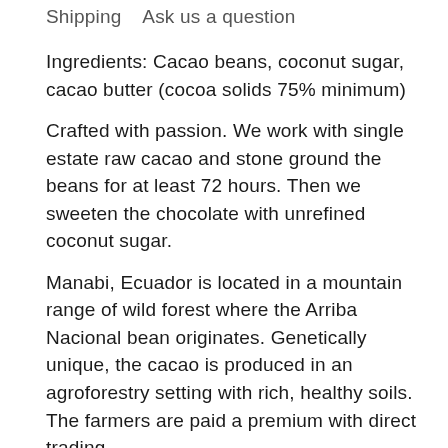Shipping   Ask us a question
Ingredients: Cacao beans, coconut sugar, cacao butter (cocoa solids 75% minimum)
Crafted with passion. We work with single estate raw cacao and stone ground the beans for at least 72 hours. Then we sweeten the chocolate with unrefined coconut sugar.
Manabi, Ecuador is located in a mountain range of wild forest where the Arriba Nacional bean originates. Genetically unique, the cacao is produced in an agroforestry setting with rich, healthy soils. The farmers are paid a premium with direct trading.